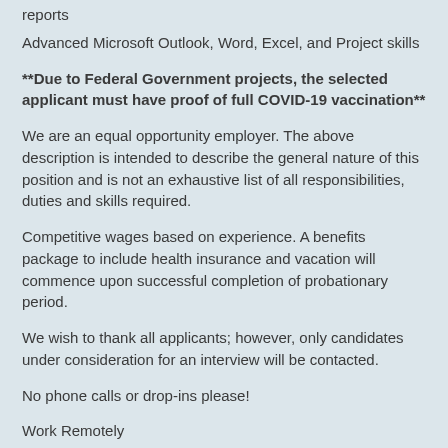reports
Advanced Microsoft Outlook, Word, Excel, and Project skills
**Due to Federal Government projects, the selected applicant must have proof of full COVID-19 vaccination**
We are an equal opportunity employer. The above description is intended to describe the general nature of this position and is not an exhaustive list of all responsibilities, duties and skills required.
Competitive wages based on experience. A benefits package to include health insurance and vacation will commence upon successful completion of probationary period.
We wish to thank all applicants; however, only candidates under consideration for an interview will be contacted.
No phone calls or drop-ins please!
Work Remotely
No
Job Types: Full-time, Permanent